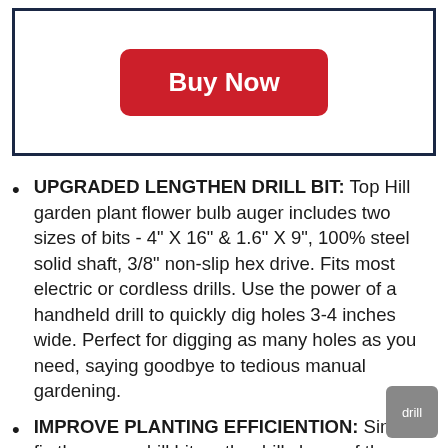[Figure (other): A red 'Buy Now' button centered inside a navy blue bordered box]
UPGRADED LENGTHEN DRILL BIT: Top Hill garden plant flower bulb auger includes two sizes of bits - 4" X 16" & 1.6" X 9", 100% steel solid shaft, 3/8" non-slip hex drive. Fits most electric or cordless drills. Use the power of a handheld drill to quickly dig holes 3-4 inches wide. Perfect for digging as many holes as you need, saying goodbye to tedious manual gardening.
IMPROVE PLANTING EFFICIENTION: Simply fix the auger drill bit on the drill clamp of the garden auger to use, hold the electric drill with either hand, the